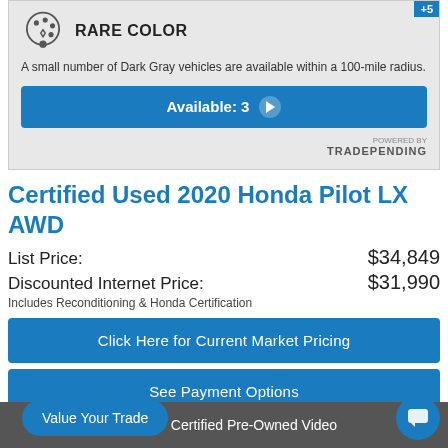[Figure (infographic): Rare Color badge with palette icon, showing availability of Dark Gray vehicles]
A small number of Dark Gray vehicles are available within a 100-mile radius.
Available: 3
POWERED BY TRADEPENDING
Certified Used 2020 Honda Pilot LX AWD
List Price: $34,849
Discounted Internet Price: $31,990
Includes Reconditioning & Honda Certification
Click Here for Current Market Pricing
See Payment Options
Start Online Buying Process
Value Your Trade
Certified Pre-Owned Video